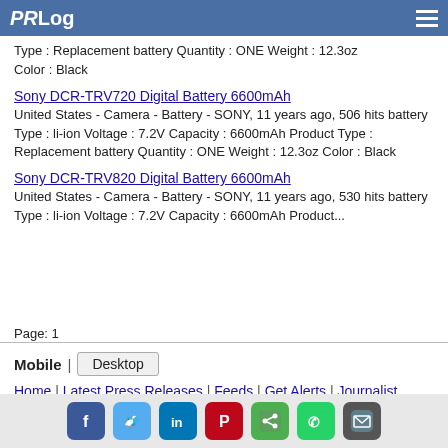PRLog
Type : Replacement battery Quantity : ONE Weight : 12.3oz Color : Black
Sony DCR-TRV720 Digital Battery 6600mAh
United States - Camera - Battery - SONY, 11 years ago, 506 hits battery Type : li-ion Voltage : 7.2V Capacity : 6600mAh Product Type : Replacement battery Quantity : ONE Weight : 12.3oz Color : Black
Sony DCR-TRV820 Digital Battery 6600mAh
United States - Camera - Battery - SONY, 11 years ago, 530 hits battery Type : li-ion Voltage : 7.2V Capacity : 6600mAh Product...
Page: 1
Mobile | Desktop
Home | Latest Press Releases | Feeds | Get Alerts | Journalist Account | PR Newswire Distribution | Privacy | TOS | Contact | Copyright | About